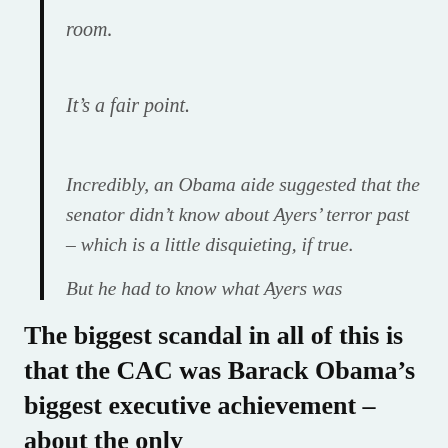room.
It’s a fair point.
Incredibly, an Obama aide suggested that the senator didn’t know about Ayers’ terror past – which is a little disquieting, if true.
But he had to know what Ayers was
The biggest scandal in all of this is that the CAC was Barack Obama’s biggest executive achievement – about the only